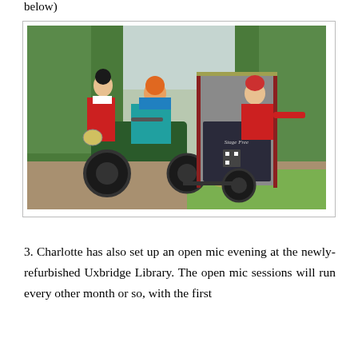below)
[Figure (photo): Three people in colorful costumes on a motorcycle with a sidecar shaped like a phone booth or box. A person in a blue maid hat and red outfit stands behind, a person in teal cape and orange wig rides the motorcycle, and a person in red outfit with floral headpiece leans out of the box sidecar. The scene is set on a gravel path in a park or garden with green trees in the background.]
3. Charlotte has also set up an open mic evening at the newly-refurbished Uxbridge Library. The open mic sessions will run every other month or so, with the first